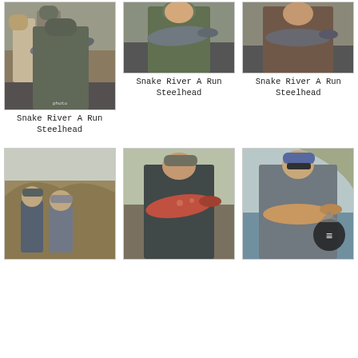[Figure (photo): Person holding a large steelhead fish on a boat, two other people visible in background, arid canyon landscape]
[Figure (photo): Person in green jacket smiling, holding a large steelhead fish on a boat]
[Figure (photo): Person in brown jacket holding a large steelhead fish on a boat]
Snake River A Run Steelhead
Snake River A Run Steelhead
Snake River A Run Steelhead
[Figure (photo): Two people standing in front of canyon landscape, fishing outing]
[Figure (photo): Person in camo cap holding a large colorful steelhead fish outdoors]
[Figure (photo): Person in blue cap holding a large steelhead fish on a boat, chat button overlay visible]